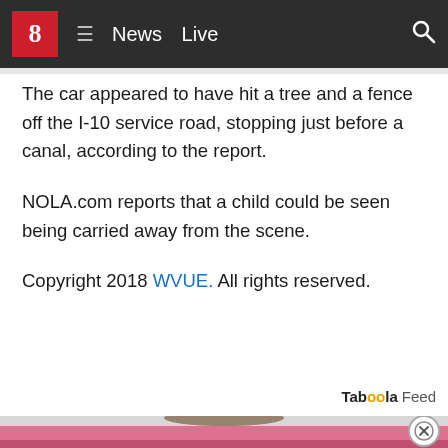8 News Live
The car appeared to have hit a tree and a fence off the I-10 service road, stopping just before a canal, according to the report.
NOLA.com reports that a child could be seen being carried away from the scene.
Copyright 2018 WVUE. All rights reserved.
Taboola Feed
[Figure (photo): Photo of a woman with brown hair looking upward, with a pink background, partially visible at the bottom of the page. A close/dismiss button is visible in the lower right corner.]